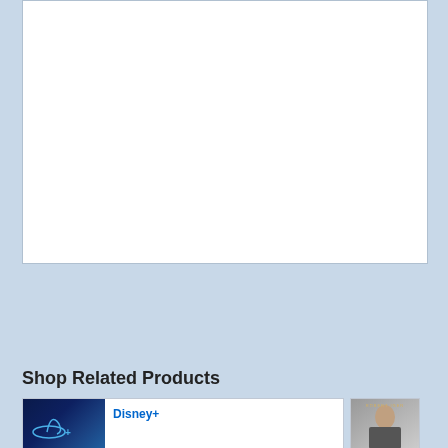[Figure (other): White rectangular content area on light blue background, appearing to be an embedded media or advertisement placeholder]
Shop Related Products
[Figure (other): Disney+ product card with dark blue Disney+ logo thumbnail and title text 'Disney+']
[Figure (other): Robert Iger book cover thumbnail showing a man in a suit with golden text 'ROBERT IGER']